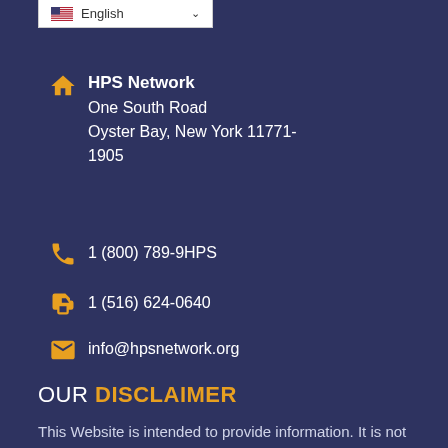English (language selector dropdown)
HPS Network
One South Road
Oyster Bay, New York 11771-1905
1 (800) 789-9HPS
1 (516) 624-0640
info@hpsnetwork.org
OUR DISCLAIMER
This Website is intended to provide information. It is not intended to